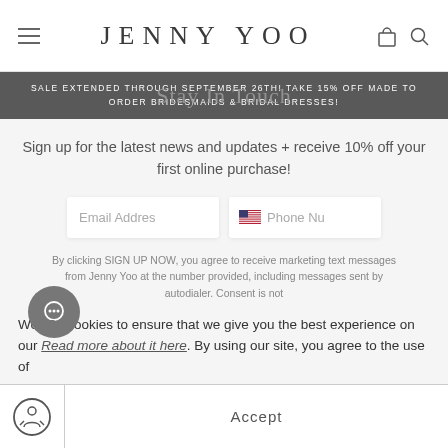JENNY YOO
SALE EXTENDED THROUGH SEPTEMBER 26TH! TAKE 15% OFF MADE TO ORDER BRIDESMAIDS & BRIDAL DRESSES!
Stay In Touch
Sign up for the latest news and updates + receive 10% off your first online purchase!
Email Address  |  Phone Number
By clicking SIGN UP NOW, you agree to receive marketing text messages from Jenny Yoo at the number provided, including messages sent by autodialer. Consent is not
We use cookies to ensure that we give you the best experience on our Read more about it here. By using our site, you agree to the use of
Accept